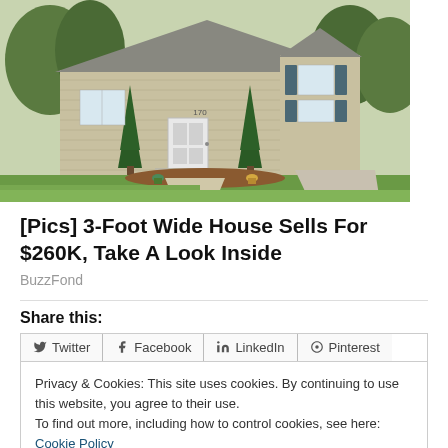[Figure (photo): Exterior photo of a suburban house with tan/beige siding, white front door, evergreen trees, green lawn, and concrete walkway]
[Pics] 3-Foot Wide House Sells For $260K, Take A Look Inside
BuzzFond
Share this:
Privacy & Cookies: This site uses cookies. By continuing to use this website, you agree to their use. To find out more, including how to control cookies, see here: Cookie Policy